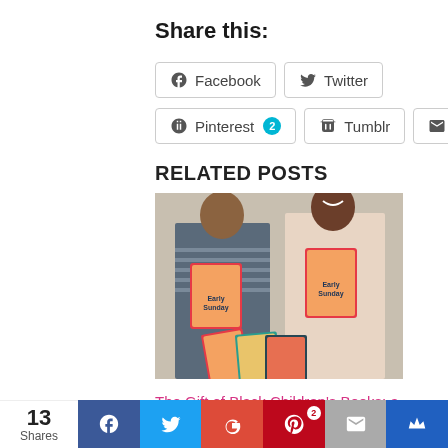Share this:
Facebook | Twitter | Pinterest 2 | Tumblr | Email
RELATED POSTS
[Figure (photo): Two people holding colorful children's books, with more books displayed on a table in front of them]
The Gift of Black Children's Books: a $1,000 Donation for Denene Millner Books
13 Shares | Facebook | Twitter | G+ | Pinterest 2 | Email | Crown